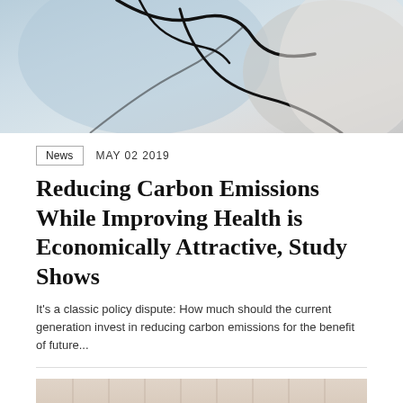[Figure (illustration): Top decorative illustration with light blue and grey abstract shapes and black curved lines suggesting a stylized animal or abstract figure]
News   MAY 02 2019
Reducing Carbon Emissions While Improving Health is Economically Attractive, Study Shows
It's a classic policy dispute: How much should the current generation invest in reducing carbon emissions for the benefit of future...
[Figure (illustration): Bottom decorative image with warm beige/tan tones showing partial numbers '4' and '2' on the sides, and text 'A HISTORICAL LOOK' in orange at the bottom center]